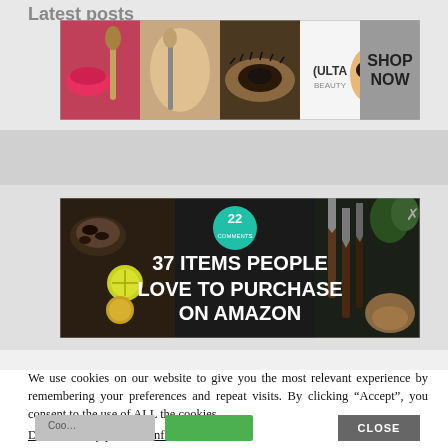Latest posts
[Figure (screenshot): ULTA Beauty advertisement banner showing makeup products and women faces with text 'SHOP NOW']
[Figure (screenshot): Amazon advertisement: '37 ITEMS PEOPLE LOVE TO PURCHASE ON AMAZON' with badge '22', food items on left and knives on right, dark background]
We use cookies on our website to give you the most relevant experience by remembering your preferences and repeat visits. By clicking “Accept”, you consent to the use of ALL the cookies.
Do not sell my personal information.
[Figure (screenshot): ULTA Beauty advertisement banner (bottom repeat) showing makeup products and women faces with text 'SHOP NOW']